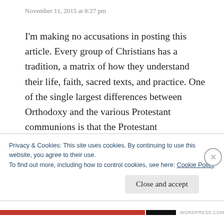November 11, 2015 at 8:27 pm
I'm making no accusations in posting this article. Every group of Christians has a tradition, a matrix of how they understand their life, faith, sacred texts, and practice. One of the single largest differences between Orthodoxy and the various Protestant communions is that the Protestant Communions, while acknowledging Christ as Head of their community express their understandings of that and much of how they see the Faith and
Privacy & Cookies: This site uses cookies. By continuing to use this website, you agree to their use.
To find out more, including how to control cookies, see here: Cookie Policy
Close and accept